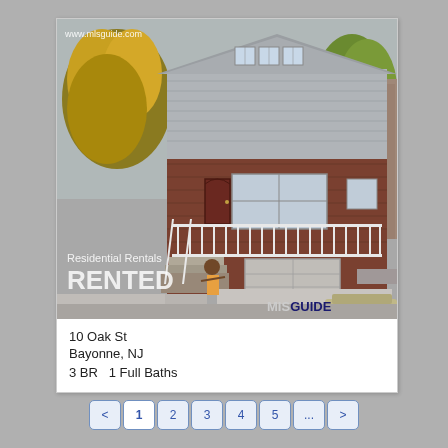[Figure (photo): Exterior photo of a two-story residential home with brick lower level, gray siding upper level, front porch with white railing, garage, and autumn trees. Overlays include www.mlsguide.com watermark, 'Residential Rentals' text, 'RENTED' status, and MISGUIDE logo.]
10 Oak St
Bayonne, NJ
3 BR   1 Full Baths
< 1 2 3 4 5 ... >